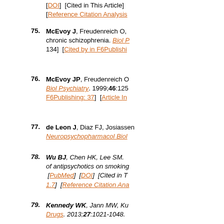[DOI]  [Cited in This Article]  [Reference Citation Analysis]
75.  McEvoy J, Freudenreich O, ... chronic schizophrenia. Biol P... 134]  [Cited by in F6Publishi...
76.  McEvoy JP, Freudenreich O ... Biol Psychiatry. 1999;46:125... F6Publishing: 37]  [Article In...
77.  de Leon J, Diaz FJ, Josiassen... Neuropsychopharmacol Biol ...
78.  Wu BJ, Chen HK, Lee SM. ... of antipsychotics on smoking... [PubMed]  [DOI]  [Cited in T... 1.7]  [Reference Citation Ana...
79.  Kennedy WK, Jann MW, Ku... Drugs. 2013;27:1021-1048. F6Publishing: 42]  [Article In...
80.  Carrillo JA, Herraiz AG, Ra... (CYP) 1A2 and polymorphic... 127.  [PubMed]  [Cited in Th...